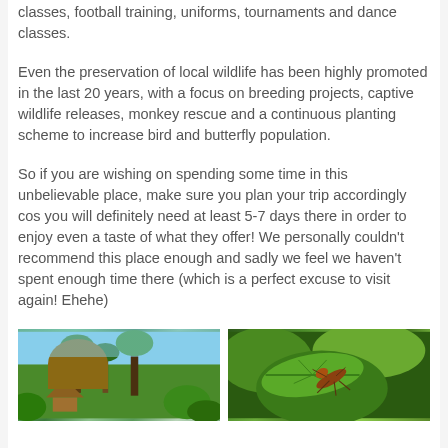classes, football training, uniforms, tournaments and dance classes.
Even the preservation of local wildlife has been highly promoted in the last 20 years, with a focus on breeding projects, captive wildlife releases, monkey rescue and a continuous planting scheme to increase bird and butterfly population.
So if you are wishing on spending some time in this unbelievable place, make sure you plan your trip accordingly cos you will definitely need at least 5-7 days there in order to enjoy even a taste of what they offer! We personally couldn't recommend this place enough and sadly we feel we haven't spent enough time there (which is a perfect excuse to visit again! Ehehe)
[Figure (photo): Photo of tropical vegetation with palm trees and a thatched hut roof visible, blue sky in background]
[Figure (photo): Close-up photo of green leaves with an insect (appears to be a grasshopper or similar) on the plant stem]